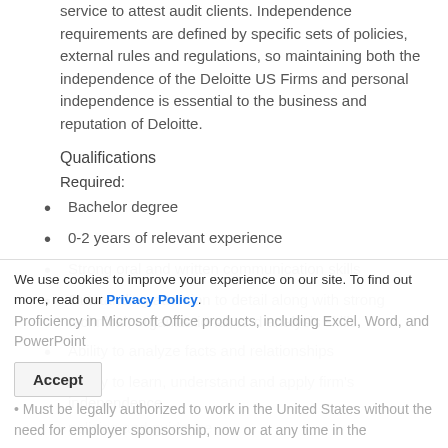service to attest audit clients. Independence requirements are defined by specific sets of policies, external rules and regulations, so maintaining both the independence of the Deloitte US Firms and personal independence is essential to the business and reputation of Deloitte.
Qualifications
Required:
Bachelor degree
0-2 years of relevant experience
Strong oral and written communication skills
Outstanding attention to detail along with strong technical, organizational, and analysis skills
Ability to analyze facts and relationships
Ability to learn, understand and apply firm's independence policies and guidance
Proficiency in Microsoft Office products, including Excel, Word, and PowerPoint
Must be legally authorized to work in the United States without the need for employer sponsorship, now or at any time in the